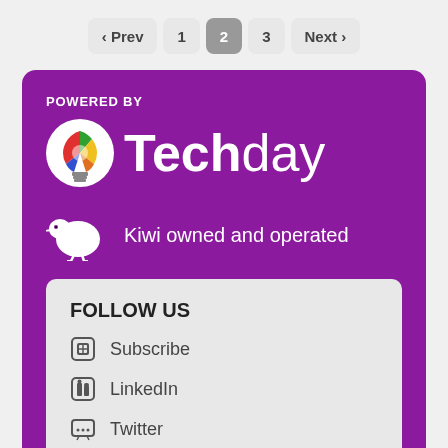« Prev  1  2  3  Next »
[Figure (logo): Techday logo with colorful lightbulb icon and text 'Techday' on purple background, with 'POWERED BY' label and kiwi bird icon with 'Kiwi owned and operated' text]
FOLLOW US
Subscribe
LinkedIn
Twitter